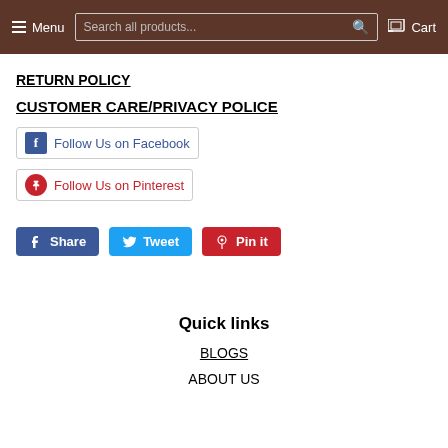Menu  Search all products...  Cart
RETURN POLICY
CUSTOMER CARE/PRIVACY POLICE
[Figure (other): Follow Us on Facebook social badge button]
[Figure (other): Follow Us on Pinterest social badge button]
[Figure (other): Share, Tweet, Pin it social share buttons row]
Quick links
BLOGS
ABOUT US